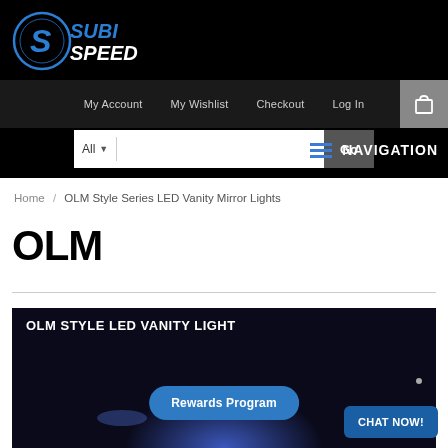[Figure (logo): SubiSpeed logo with blue circular S emblem and white/blue SUBISPEED text on black background]
My Account  My Wishlist  Checkout  Log In
All  Go
NAVIGATION
Home / OLM Style Series LED Vanity Mirror Lights
OLM
[Figure (photo): Dark product image with text 'OLM STYLE LED VANITY LIGHT' and blue LED light glow effect at bottom]
Rewards Program
CHAT NOW!